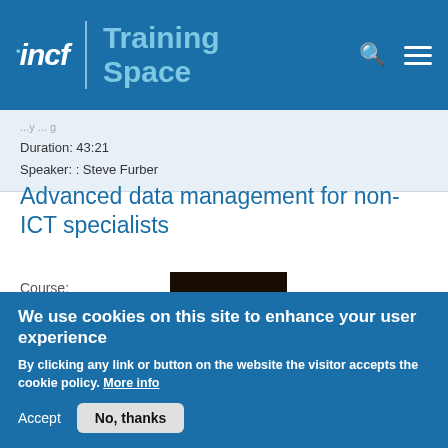incf | Training Space
Duration: 43:21
Speaker: : Steve Furber
Advanced data management for non-ICT specialists
Course:
Introduction to
[Figure (screenshot): Thumbnail showing a presentation slide titled 'Relational Databases: One Size Does Not Fit All']
We use cookies on this site to enhance your user experience
By clicking any link or button on the website the visitor accepts the cookie policy. More info
Accept   No, thanks